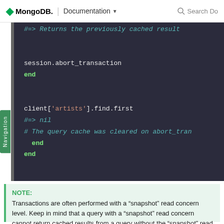MongoDB | Documentation  Search Do
[Figure (screenshot): Code block showing Ruby transaction code with session.abort_transaction, end, client['artists'].find.first, #=> nil, and a comment about query cache cleared on abort_transaction]
NOTE:
Transactions are often performed with a “snapshot” read concern level. Keep in mind that a query with a “snapshot” read concern cannot return cached results from a query without the “snapshot” read concern, so